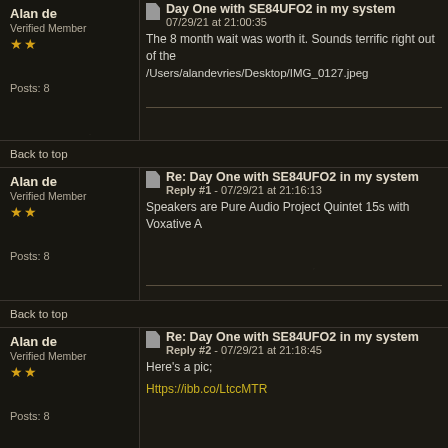Alan de
Verified Member
★★
Posts: 8
Day One with SE84UFO2 in my system
07/29/21 at 21:00:35
The 8 month wait was worth it. Sounds terrific right out of the
/Users/alandevries/Desktop/IMG_0127.jpeg
Back to top
Alan de
Verified Member
★★
Posts: 8
Re: Day One with SE84UFO2 in my system
Reply #1 - 07/29/21 at 21:16:13
Speakers are Pure Audio Project Quintet 15s with Voxative A
Back to top
Alan de
Verified Member
★★
Posts: 8
Re: Day One with SE84UFO2 in my system
Reply #2 - 07/29/21 at 21:18:45
Here's a pic;
Https://ibb.co/LtccMTR
[Figure (photo): Photo of a speaker enclosure (wooden baffle with large circular driver opening) and a vintage radio, against a light-colored wall background]